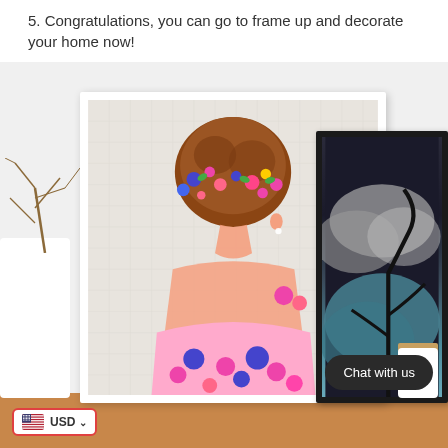5. Congratulations, you can go to frame up and decorate your home now!
[Figure (photo): A diamond painting artwork in a white frame showing a woman seen from behind with red/brown hair in an updo decorated with colorful flowers, wearing a pink floral dress. Next to it is a black frame with a galaxy/cloud night scene. Both frames are displayed on a wooden table surface. A white vase with branches is visible on the left. A small white canister with wooden lid is on the right. A 'Chat with us' dark button overlay is in the lower right. A USD currency selector badge is in the lower left.]